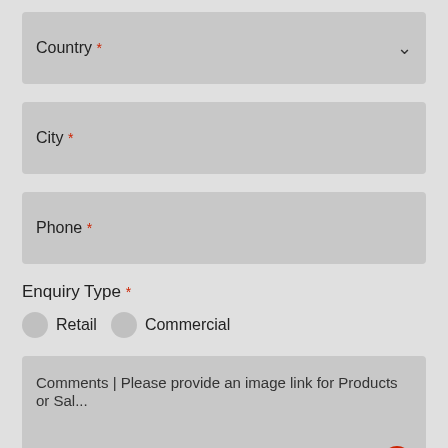[Figure (screenshot): Form field: Country (required) with dropdown chevron]
[Figure (screenshot): Form field: City (required)]
[Figure (screenshot): Form field: Phone (required)]
Enquiry Type *
Retail
Commercial
[Figure (screenshot): Comments text area with placeholder: Comments | Please provide an image link for Products or Sal... and a shopping cart widget with badge showing 0]
Join Da Vinci's Exclusive Community